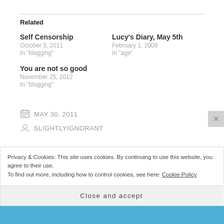Related
Self Censorship
October 3, 2011
In "blogging"
Lucy's Diary, May 5th
February 1, 2009
In "age"
You are not so good
November 25, 2012
In "blogging"
MAY 30, 2011
SLIGHTLYIGNORANT
Privacy & Cookies: This site uses cookies. By continuing to use this website, you agree to their use.
To find out more, including how to control cookies, see here: Cookie Policy
Close and accept